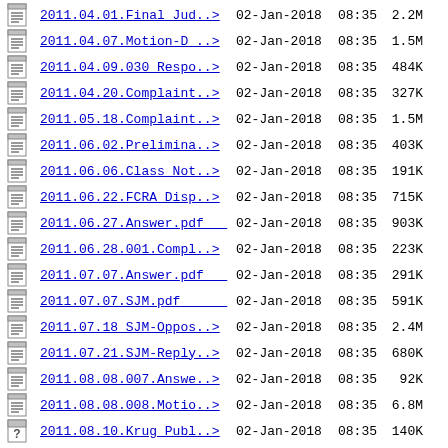2011.04.01.Final Jud..> 02-Jan-2018 08:35 2.2M
2011.04.07.Motion-D ..> 02-Jan-2018 08:35 1.5M
2011.04.09.030 Respo..> 02-Jan-2018 08:35 484K
2011.04.20.Complaint..> 02-Jan-2018 08:35 327K
2011.05.18.Complaint..> 02-Jan-2018 08:35 1.5M
2011.06.02.Prelimina..> 02-Jan-2018 08:35 403K
2011.06.06.Class Not..> 02-Jan-2018 08:35 191K
2011.06.22.FCRA Disp..> 02-Jan-2018 08:35 715K
2011.06.27.Answer.pdf 02-Jan-2018 08:35 903K
2011.06.28.001.Compl..> 02-Jan-2018 08:35 223K
2011.07.07.Answer.pdf 02-Jan-2018 08:35 291K
2011.07.07.SJM.pdf 02-Jan-2018 08:35 591K
2011.07.18 SJM-Oppos..> 02-Jan-2018 08:35 2.4M
2011.07.21.SJM-Reply..> 02-Jan-2018 08:35 680K
2011.08.08.007.Answe..> 02-Jan-2018 08:35 92K
2011.08.08.008.Motio..> 02-Jan-2018 08:35 6.8M
2011.08.10.Krug Publ..> 02-Jan-2018 08:35 140K